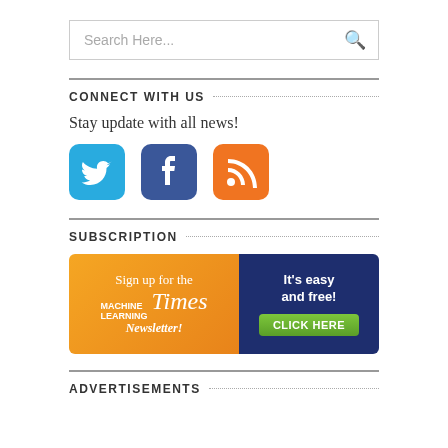Search Here...
CONNECT WITH US
Stay update with all news!
[Figure (other): Three social media icons: Twitter (blue bird), Facebook (dark blue f), RSS (orange feed icon)]
SUBSCRIPTION
[Figure (other): Sign up for the Machine Learning Times Newsletter! It's easy and free! CLICK HERE banner]
ADVERTISEMENTS